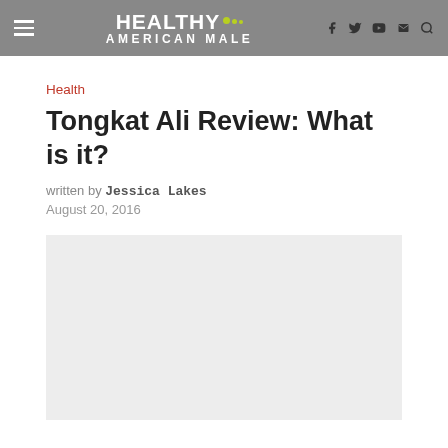HEALTHY AMERICAN MALE
Health
Tongkat Ali Review: What is it?
written by Jessica Lakes
August 20, 2016
[Figure (photo): Large light gray image placeholder area below the article header]